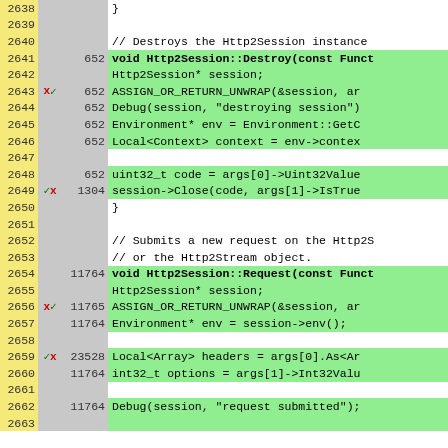[Figure (screenshot): Code coverage viewer showing C++ source lines 2638-2663 with line numbers (yellow), branch markers (grey), coverage counts (grey), and code content (white/green background). Green rows indicate covered lines.]